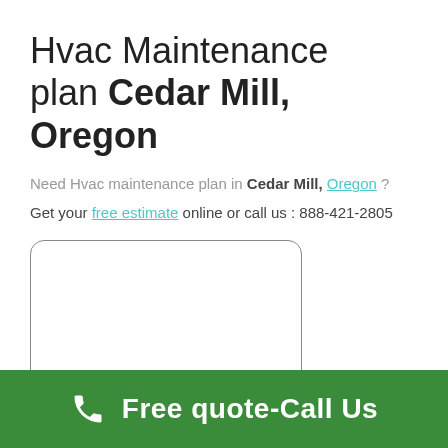Hvac Maintenance plan Cedar Mill, Oregon
Need Hvac maintenance plan in Cedar Mill, Oregon ?
Get your free estimate online or call us : 888-421-2805
[Figure (map): Embedded map showing Cedar Mill, Oregon area]
Free quote-Call Us